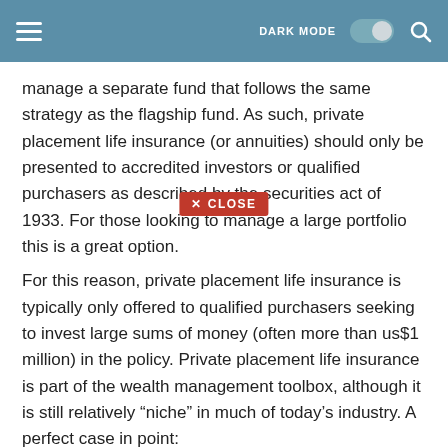DARK MODE [toggle] [search]
manage a separate fund that follows the same strategy as the flagship fund. As such, private placement life insurance (or annuities) should only be presented to accredited investors or qualified purchasers as described by the securities act of 1933. For those looking to manage a large portfolio this is a great option.
For this reason, private placement life insurance is typically only offered to qualified purchasers seeking to invest large sums of money (often more than us$1 million) in the policy. Private placement life insurance is part of the wealth management toolbox, although it is still relatively “niche” in much of today’s industry. A perfect case in point:
Life insurance solutions are increasingly used by wealthy families as a wealth planning structure for wealth